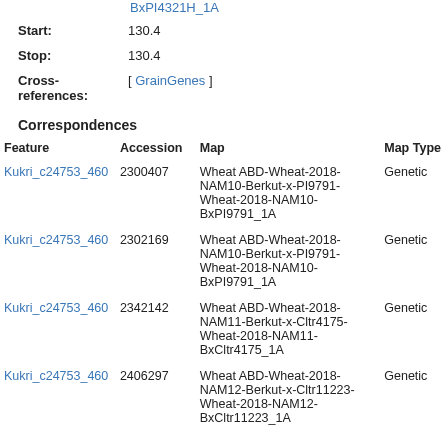BxPI4321H_1A
Start: 130.4
Stop: 130.4
Cross-references: [ GrainGenes ]
Correspondences
| Feature | Accession | Map | Map Type |
| --- | --- | --- | --- |
| Kukri_c24753_460 | 2300407 | Wheat ABD-Wheat-2018-NAM10-Berkut-x-PI9791-Wheat-2018-NAM10-BxPI9791_1A | Genetic |
| Kukri_c24753_460 | 2302169 | Wheat ABD-Wheat-2018-NAM10-Berkut-x-PI9791-Wheat-2018-NAM10-BxPI9791_1A | Genetic |
| Kukri_c24753_460 | 2342142 | Wheat ABD-Wheat-2018-NAM11-Berkut-x-Cltr4175-Wheat-2018-NAM11-BxCltr4175_1A | Genetic |
| Kukri_c24753_460 | 2406297 | Wheat ABD-Wheat-2018-NAM12-Berkut-x-Cltr11223-Wheat-2018-NAM12-BxCltr11223_1A | Genetic |